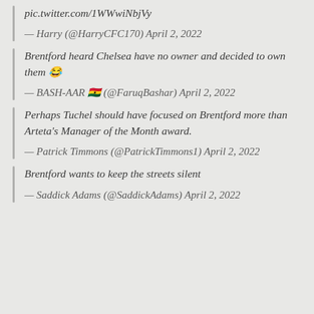pic.twitter.com/1WWwiNbjVy
— Harry (@HarryCFC170) April 2, 2022
Brentford heard Chelsea have no owner and decided to own them 😂
— BASH-AAR 🇬🇭 (@FaruqBashar) April 2, 2022
Perhaps Tuchel should have focused on Brentford more than Arteta's Manager of the Month award.
— Patrick Timmons (@PatrickTimmons1) April 2, 2022
Brentford wants to keep the streets silent
— Saddick Adams (@SaddickAdams) April 2, 2022